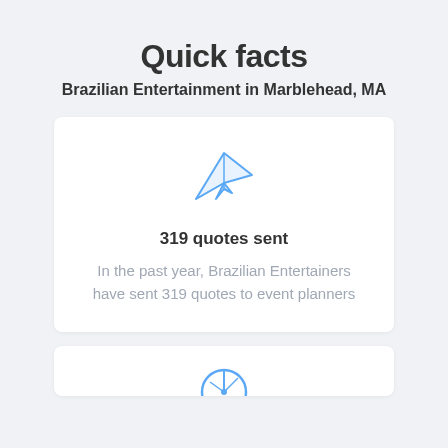Quick facts
Brazilian Entertainment in Marblehead, MA
[Figure (illustration): Paper airplane icon in blue outline style]
319 quotes sent
In the past year, Brazilian Entertainers have sent 319 quotes to event planners
[Figure (illustration): Partial second card with a blue circular icon visible at the bottom]